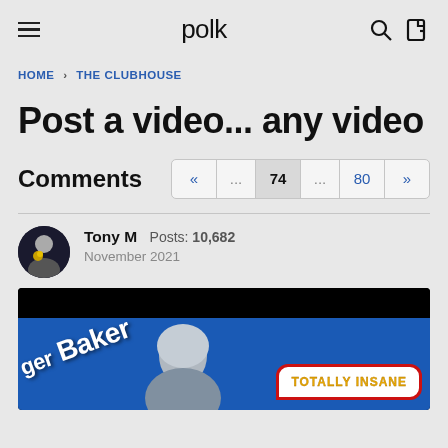polk
HOME › THE CLUBHOUSE
Post a video... any video
Comments
Tony M  Posts: 10,682  November 2021
[Figure (screenshot): Video thumbnail showing text 'ger Baker' and a speech bubble with 'TOTALLY INSANE' on a blue background]